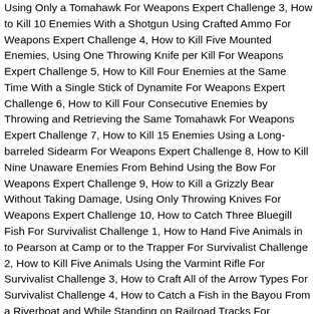Using Only a Tomahawk For Weapons Expert Challenge 3, How to Kill 10 Enemies With a Shotgun Using Crafted Ammo For Weapons Expert Challenge 4, How to Kill Five Mounted Enemies, Using One Throwing Knife per Kill For Weapons Expert Challenge 5, How to Kill Four Enemies at the Same Time With a Single Stick of Dynamite For Weapons Expert Challenge 6, How to Kill Four Consecutive Enemies by Throwing and Retrieving the Same Tomahawk For Weapons Expert Challenge 7, How to Kill 15 Enemies Using a Long-barreled Sidearm For Weapons Expert Challenge 8, How to Kill Nine Unaware Enemies From Behind Using the Bow For Weapons Expert Challenge 9, How to Kill a Grizzly Bear Without Taking Damage, Using Only Throwing Knives For Weapons Expert Challenge 10, How to Catch Three Bluegill Fish For Survivalist Challenge 1, How to Hand Five Animals in to Pearson at Camp or to the Trapper For Survivalist Challenge 2, How to Kill Five Animals Using the Varmint Rifle For Survivalist Challenge 3, How to Craft All of the Arrow Types For Survivalist Challenge 4, How to Catch a Fish in the Bayou From a Riverboat and While Standing on Railroad Tracks For Survivalist Challenge 5, How to Kill a Scavenging Animal While it is Feeding on a Corpse Five Times For Survivalist Challenge 6, How to Kill Eight Small Game Animals With Consecutive Shots, Using Small Game